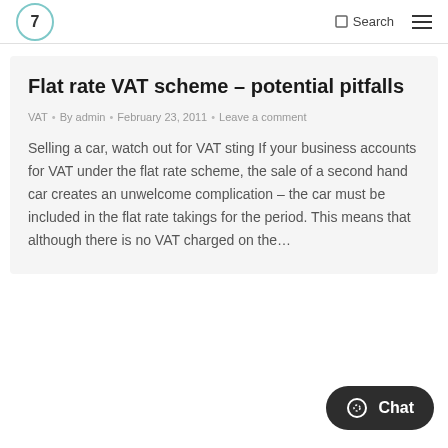7  Search ☰
Flat rate VAT scheme – potential pitfalls
VAT • By admin • February 23, 2011 • Leave a comment
Selling a car, watch out for VAT sting If your business accounts for VAT under the flat rate scheme, the sale of a second hand car creates an unwelcome complication – the car must be included in the flat rate takings for the period. This means that although there is no VAT charged on the...